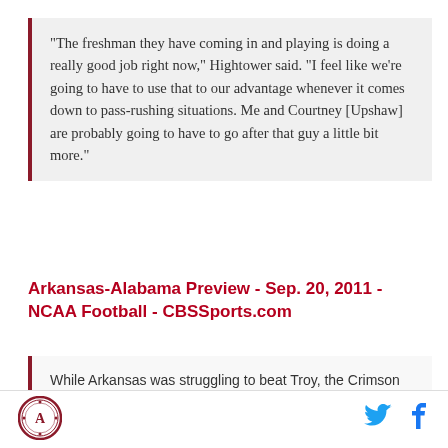"The freshman they have coming in and playing is doing a really good job right now," Hightower said. "I feel like we're going to have to use that to our advantage whenever it comes down to pass-rushing situations. Me and Courtney [Upshaw] are probably going to have to go after that guy a little bit more."
Arkansas-Alabama Preview - Sep. 20, 2011 - NCAA Football - CBSSports.com
While Arkansas was struggling to beat Troy, the Crimson Tide (3-0) made easy work of another Sun Belt Conference opponent in a 41-0 win over North Texas. Trent Richardson and Eddie Lacy combined
[Figure (logo): Alabama Crimson Tide circular logo/seal in red and white]